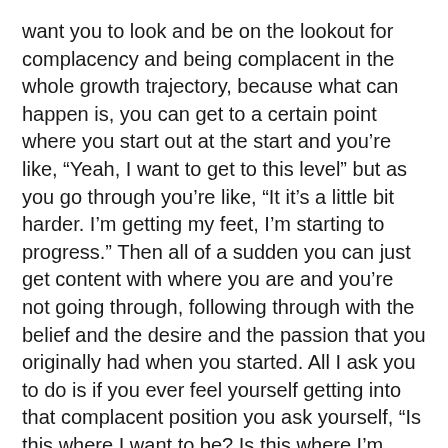want you to look and be on the lookout for complacency and being complacent in the whole growth trajectory, because what can happen is, you can get to a certain point where you start out at the start and you're like, "Yeah, I want to get to this level" but as you go through you're like, "It it's a little bit harder. I'm getting my feet, I'm starting to progress." Then all of a sudden you can just get content with where you are and you're not going through, following through with the belief and the desire and the passion that you originally had when you started. All I ask you to do is if you ever feel yourself getting into that complacent position you ask yourself, "Is this where I want to be? Is this where I'm happy to remain?"
For example, I went to university. I didn't complete my university degree. I completed one year. Got to the end of university and I was like, "Okay" and I